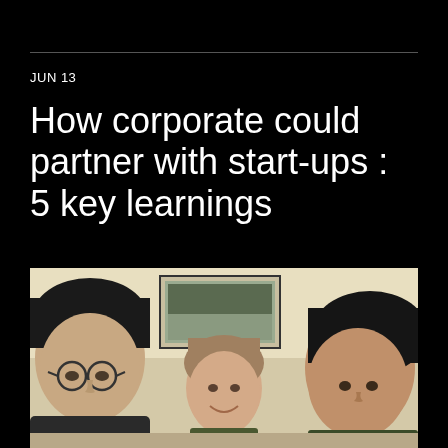JUN 13
How corporate could partner with start-ups : 5 key learnings
[Figure (photo): Three people sitting together in a room with beige walls and a framed artwork on the wall behind them. On the left is a young man with glasses and dark hair, in the center is a woman with light brown hair smiling, and on the right is a young woman with dark hair.]